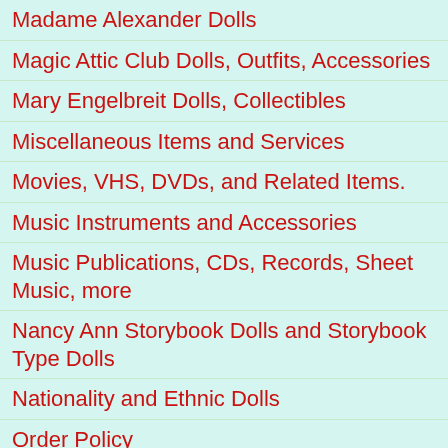Madame Alexander Dolls
Magic Attic Club Dolls, Outfits, Accessories
Mary Engelbreit Dolls, Collectibles
Miscellaneous Items and Services
Movies, VHS, DVDs, and Related Items.
Music Instruments and Accessories
Music Publications, CDs, Records, Sheet Music, more
Nancy Ann Storybook Dolls and Storybook Type Dolls
Nationality and Ethnic Dolls
Order Policy